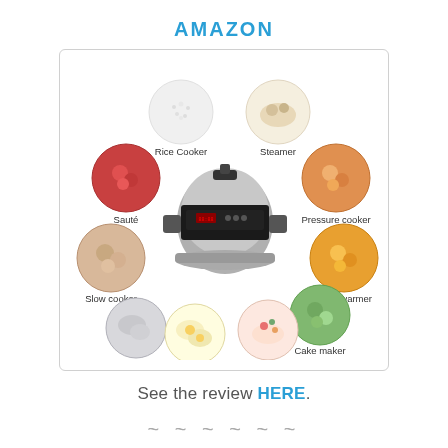AMAZON
[Figure (infographic): Circular infographic showing a multi-function electric pressure cooker in the center surrounded by 9 food/function images with labels: Rice Cooker, Steamer, Pressure cooker, Food warmer, Cake maker, Yogurt Maker, Egg Cooker, Sterilizer, Slow cooker, Sauté]
See the review HERE.
~ ~ ~ ~ ~ ~